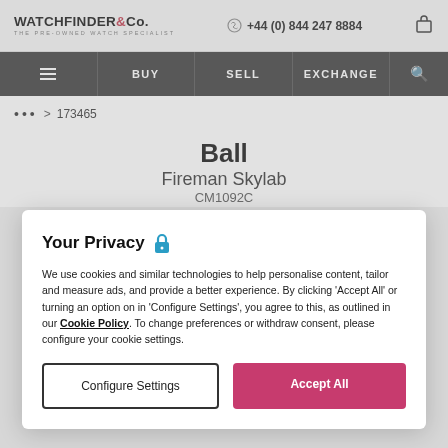WATCHFINDER & Co. THE PRE-OWNED WATCH SPECIALIST | +44 (0) 844 247 8884
≡  BUY  SELL  EXCHANGE  🔍
••• > 173465
Ball
Fireman Skylab
CM1092C
Your Privacy 🔒

We use cookies and similar technologies to help personalise content, tailor and measure ads, and provide a better experience. By clicking 'Accept All' or turning an option on in 'Configure Settings', you agree to this, as outlined in our Cookie Policy. To change preferences or withdraw consent, please configure your cookie settings.
Configure Settings | Accept All